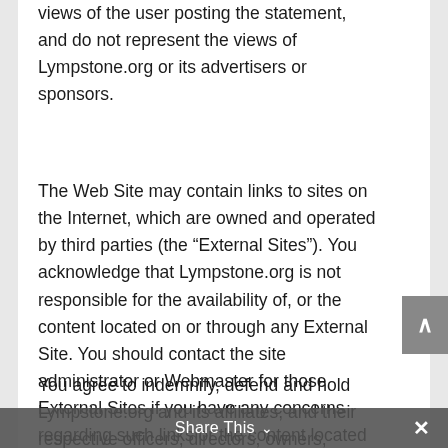views of the user posting the statement, and do not represent the views of Lympstone.org or its advertisers or sponsors.
The Web Site may contain links to sites on the Internet, which are owned and operated by third parties (the “External Sites”). You acknowledge that Lympstone.org is not responsible for the availability of, or the content located on or through any External Site. You should contact the site administrator or Webmaster for those External Sites if you have any concerns regarding such links or the content located on such External Sites.
You agree to indemnify, defend and hold Lympstone.org and its affiliates, and their respective officers, directors, owners, agents, information providers and licensors (collectively known, “ Lympstone.org ”) harmless from and against any and all claims, liability, losses, costs and expenses (including
Share This ∨